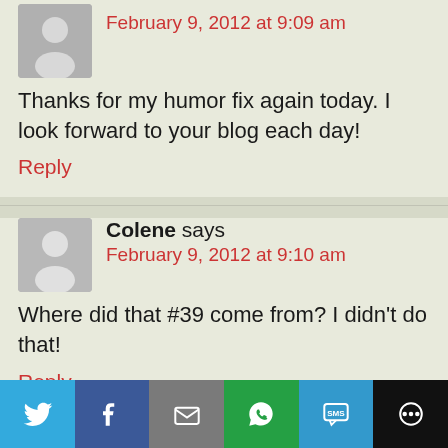February 9, 2012 at 9:09 am
Thanks for my humor fix again today. I look forward to your blog each day!
Reply
Colene says
February 9, 2012 at 9:10 am
Where did that #39 come from? I didn't do that!
Reply
[Figure (infographic): Social share bar with Twitter, Facebook, Email, WhatsApp, SMS, and More buttons]